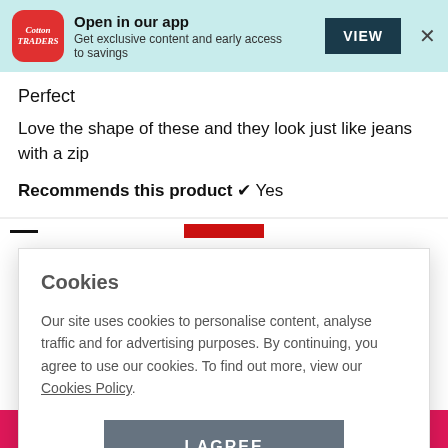Open in our app — Get exclusive content and early access to savings — VIEW
Perfect
Love the shape of these and they look just like jeans with a zip
Recommends this product ✔ Yes
Cookies
Our site uses cookies to personalise content, analyse traffic and for advertising purposes. By continuing, you agree to use our cookies. To find out more, view our Cookies Policy.
I AGREE